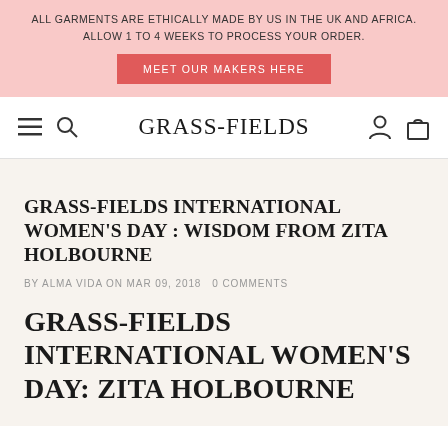ALL GARMENTS ARE ETHICALLY MADE BY US IN THE UK AND AFRICA. ALLOW 1 TO 4 WEEKS TO PROCESS YOUR ORDER. MEET OUR MAKERS HERE
GRASS-FIELDS
GRASS-FIELDS INTERNATIONAL WOMEN'S DAY : WISDOM FROM ZITA HOLBOURNE
BY ALMA VIDA ON MAR 09, 2018  0 COMMENTS
GRASS-FIELDS INTERNATIONAL WOMEN'S DAY: ZITA HOLBOURNE